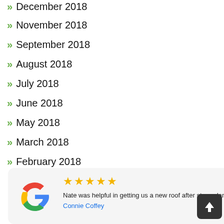December 2018
November 2018
September 2018
August 2018
July 2018
June 2018
May 2018
March 2018
February 2018
[Figure (screenshot): Black hamburger menu button icon in top right corner]
[Figure (infographic): Google review card with 5 stars, Google G logo, review text by Connie Coffey: Nate was helpful in getting us a new roof after storm damage... More]